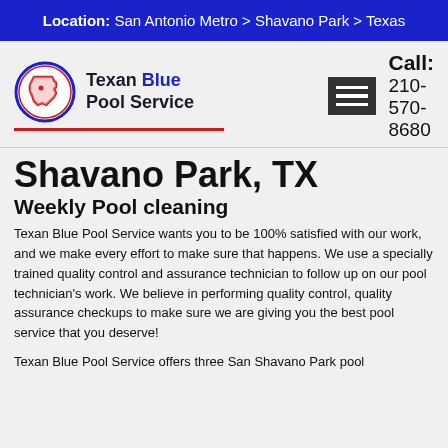Location: San Antonio Metro > Shavano Park > Texas
[Figure (logo): Texan Blue Pool Service logo with Texas state outline in a circle, red and navy colors]
Call: 210-570-8680
Shavano Park, TX
Weekly Pool cleaning
Texan Blue Pool Service wants you to be 100% satisfied with our work, and we make every effort to make sure that happens. We use a specially trained quality control and assurance technician to follow up on our pool technician’s work. We believe in performing quality control, quality assurance checkups to make sure we are giving you the best pool service that you deserve!
Texan Blue Pool Service offers three San Shavano Park pool